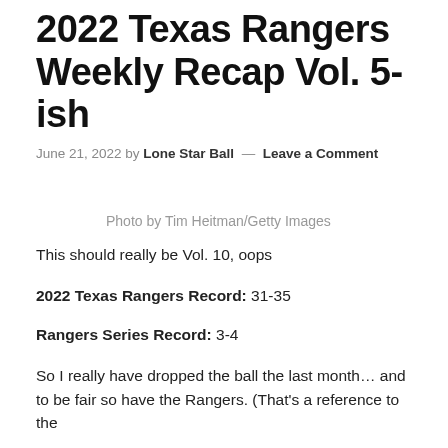2022 Texas Rangers Weekly Recap Vol. 5-ish
June 21, 2022 by Lone Star Ball — Leave a Comment
Photo by Tim Heitman/Getty Images
This should really be Vol. 10, oops
2022 Texas Rangers Record: 31-35
Rangers Series Record: 3-4
So I really have dropped the ball the last month… and to be fair so have the Rangers. (That's a reference to the